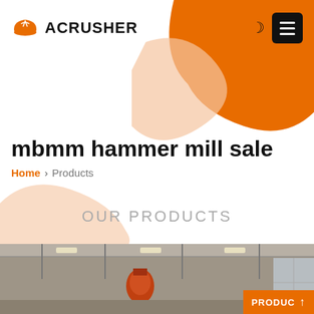[Figure (logo): Acrusher logo with orange hard hat icon and bold uppercase text ACRUSHER]
mbmm hammer mill sale
Home > Products
OUR PRODUCTS
[Figure (photo): Interior of a factory building showing ceiling structure and industrial equipment, with an orange PRODUCTS badge with arrow in the bottom right]